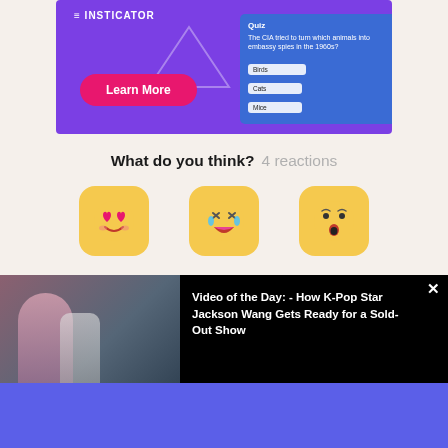[Figure (screenshot): Insticator ad banner with purple background, triangle graphic, Learn More pink button, and a quiz card showing 'The CIA tried to turn which animals into embassy spies in the 1960s?' with options Birds, Cats, Mice]
What do you think? 4 reactions
[Figure (infographic): Three reaction emojis: heart-eyes (love), laughing with tears, and wow/surprised face, each on a yellow rounded square background]
[Figure (screenshot): Video of the Day thumbnail showing a person, with text overlay: 'Video of the Day: - How K-Pop Star Jackson Wang Gets Ready for a Sold-Out Show']
[Figure (other): Bottom blue/purple rectangular banner strip]